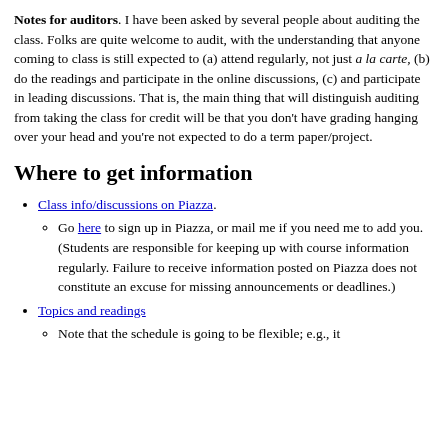Notes for auditors. I have been asked by several people about auditing the class. Folks are quite welcome to audit, with the understanding that anyone coming to class is still expected to (a) attend regularly, not just a la carte, (b) do the readings and participate in the online discussions, (c) and participate in leading discussions. That is, the main thing that will distinguish auditing from taking the class for credit will be that you don't have grading hanging over your head and you're not expected to do a term paper/project.
Where to get information
Class info/discussions on Piazza.
Go here to sign up in Piazza, or mail me if you need me to add you. (Students are responsible for keeping up with course information regularly. Failure to receive information posted on Piazza does not constitute an excuse for missing announcements or deadlines.)
Topics and readings
Note that the schedule is going to be flexible; e.g., it